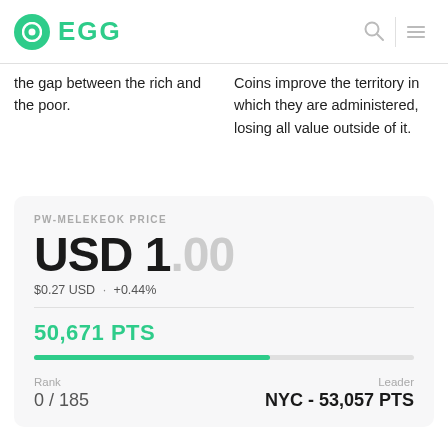EGG
the gap between the rich and the poor.
Coins improve the territory in which they are administered, losing all value outside of it.
PW-MELEKEOK PRICE
USD 1.00
$0.27 USD · +0.44%
50,671 PTS
Rank
0 / 185
Leader
NYC - 53,057 PTS